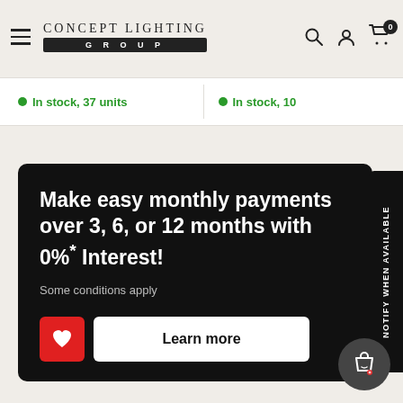[Figure (logo): Concept Lighting Group logo with name above black banner containing GROUP text]
In stock, 37 units
In stock, 10...
NOTIFY WHEN AVAILABLE
Make easy monthly payments over 3, 6, or 12 months with 0%* Interest!
Some conditions apply
Learn more